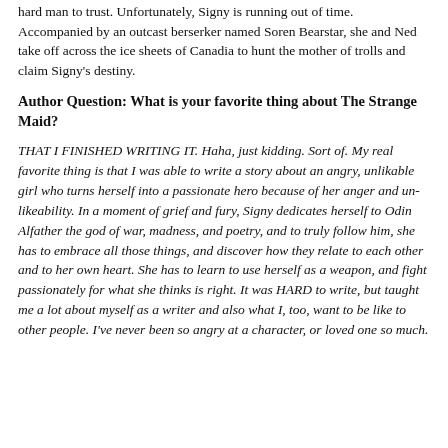hard man to trust. Unfortunately, Signy is running out of time. Accompanied by an outcast berserker named Soren Bearstar, she and Ned take off across the ice sheets of Canadia to hunt the mother of trolls and claim Signy's destiny.
Author Question: What is your favorite thing about The Strange Maid?
THAT I FINISHED WRITING IT. Haha, just kidding. Sort of. My real favorite thing is that I was able to write a story about an angry, unlikable girl who turns herself into a passionate hero because of her anger and un-likeability. In a moment of grief and fury, Signy dedicates herself to Odin Alfather the god of war, madness, and poetry, and to truly follow him, she has to embrace all those things, and discover how they relate to each other and to her own heart. She has to learn to use herself as a weapon, and fight passionately for what she thinks is right. It was HARD to write, but taught me a lot about myself as a writer and also what I, too, want to be like to other people. I've never been so angry at a character, or loved one so much.